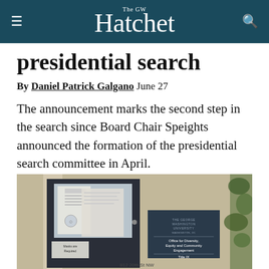The GW Hatchet
presidential search
By Daniel Patrick Galgano June 27
The announcement marks the second step in the search since Board Chair Speights announced the formation of the presidential search committee in April.
[Figure (photo): Exterior photo of a building entrance with a dark door and a sign reading 'The George Washington University Office for Diversity, Equity and Community Engagement, Title IX, 812 20th St NW']